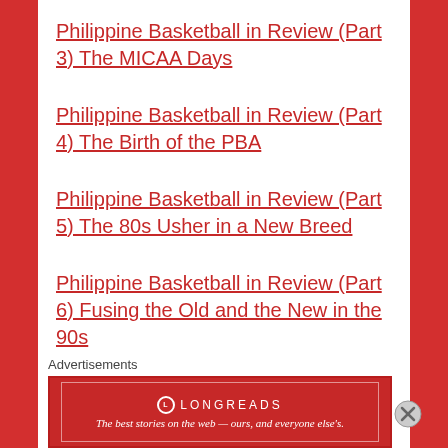Philippine Basketball in Review (Part 3) The MICAA Days
Philippine Basketball in Review (Part 4) The Birth of the PBA
Philippine Basketball in Review (Part 5) The 80s Usher in a New Breed
Philippine Basketball in Review (Part 6) Fusing the Old and the New in the 90s
Philippine Basketball in Review (Part 7) Good
Advertisements
[Figure (other): Longreads advertisement banner: red background with Longreads logo and text 'The best stories on the web — ours, and everyone else's.']